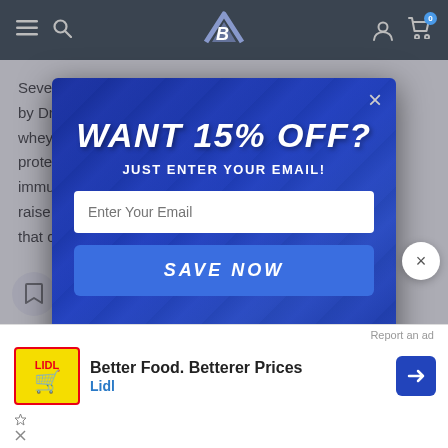Navigation bar with menu, search, logo B, account, cart (0)
Several ... "...ence" by Dr... that whey ... ies, prote... immu... to raise ... ant that c... ive
[Figure (screenshot): Modal popup overlay on a website with blue gradient background and gym/weights imagery]
WANT 15% OFF?
JUST ENTER YOUR EMAIL!
Enter Your Email
SAVE NOW
Report an ad
Better Food. Betterer Prices
Lidl